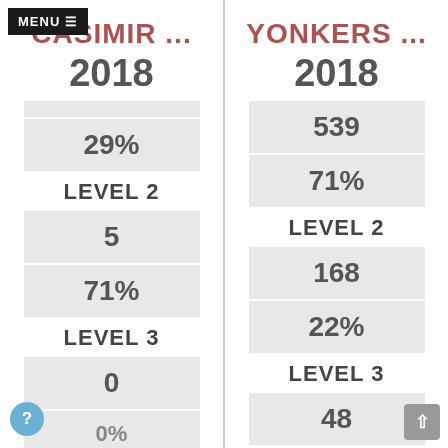MENU ≡
CASIMIR ...
2018
| Metric | Value |
| --- | --- |
| 29% |  |
| LEVEL 2 |  |
| 5 |  |
| 71% |  |
| LEVEL 3 |  |
| 0 |  |
| 0% |  |
YONKERS ...
2018
| Metric | Value |
| --- | --- |
| 539 |  |
| 71% |  |
| LEVEL 2 |  |
| 168 |  |
| 22% |  |
| LEVEL 3 |  |
| 48 |  |